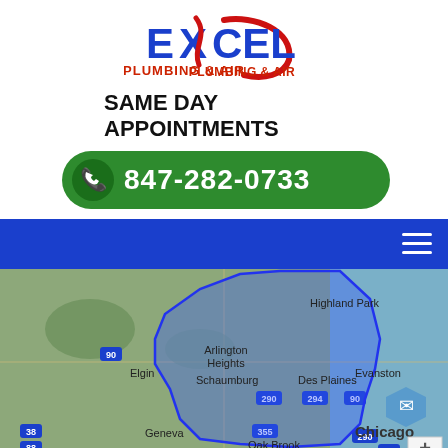[Figure (logo): Excel Plumbing & Air logo with red swoosh and blue lettering]
SAME DAY
APPOINTMENTS
847-282-0733
[Figure (infographic): Blue navigation bar with hamburger menu icon on the right]
[Figure (map): Google Maps screenshot showing service area around Chicago suburbs including Highland Park, Arlington Heights, Evanston, Schaumburg, Des Plaines, Elgin, Geneva, Oak Brook, with a blue shaded polygon overlay indicating the service coverage area]